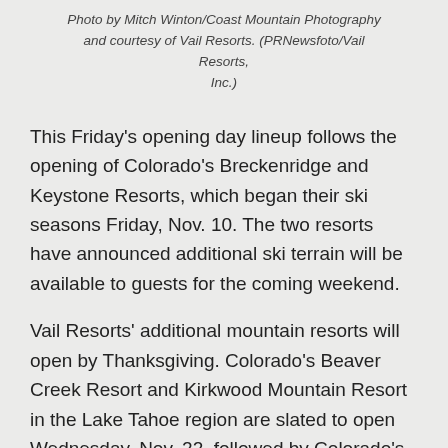Photo by Mitch Winton/Coast Mountain Photography and courtesy of Vail Resorts. (PRNewsfoto/Vail Resorts, Inc.)
This Friday's opening day lineup follows the opening of Colorado's Breckenridge and Keystone Resorts, which began their ski seasons Friday, Nov. 10. The two resorts have announced additional ski terrain will be available to guests for the coming weekend.
Vail Resorts' additional mountain resorts will open by Thanksgiving. Colorado's Beaver Creek Resort and Kirkwood Mountain Resort in the Lake Tahoe region are slated to open Wednesday, Nov. 22, followed by Colorado's Vail Mountain, Utah's Park City Mountain and Lake Tahoe's Northstar California Resort's on Thursday, Nov. 23.